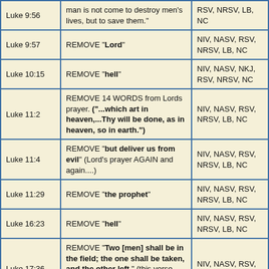| Reference | Change | Versions |
| --- | --- | --- |
| Luke 9:56 | man is not come to destroy men's lives, but to save them." | RSV, NRSV, LB, NC |
| Luke 9:57 | REMOVE "Lord" | NIV, NASV, RSV, NRSV, LB, NC |
| Luke 10:15 | REMOVE "hell" | NIV, NASV, NKJ, RSV, NRSV, NC |
| Luke 11:2 | REMOVE 14 WORDS from Lords prayer. ("...which art in heaven,...Thy will be done, as in heaven, so in earth.") | NIV, NASV, RSV, NRSV, LB, NC |
| Luke 11:4 | REMOVE "but deliver us from evil" (Lord's prayer AGAIN and again....) | NIV, NASV, RSV, NRSV, LB, NC |
| Luke 11:29 | REMOVE "the prophet" | NIV, NASV, RSV, NRSV, LB, NC |
| Luke 16:23 | REMOVE "hell" | NIV, NASV, RSV, NRSV, LB, NC |
| Luke 17:36 | REMOVE "Two [men] shall be in the field; the one shall be taken, and the other left." (this verse also appears in Matthew 24:40-41) | NIV, NASV, RSV, NRS, LB, NC |
| Luke 21:4 | REMOVE "cast in unto the offerings of God" | NIV, NASV, RSV, NRSV, LB, |